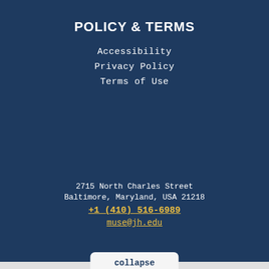POLICY & TERMS
Accessibility
Privacy Policy
Terms of Use
2715 North Charles Street
Baltimore, Maryland, USA 21218
+1 (410) 516-6989
muse@jh.edu
collapse
You are not currently authenticated.
If you would like to authenticate using a different subscribed institution or
This website uses cookies to ensure you get the best experience on our website. Without cookies your experience may not be seamless.
Accept